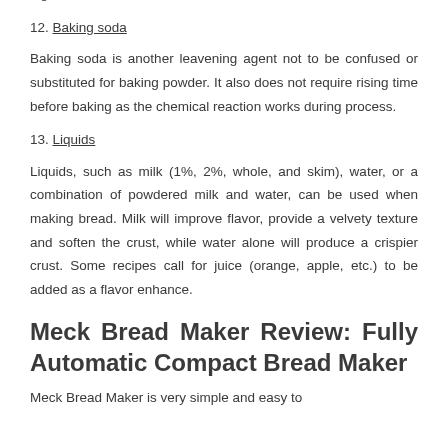ingredients are added.
12. Baking soda
Baking soda is another leavening agent not to be confused or substituted for baking powder. It also does not require rising time before baking as the chemical reaction works during process.
13. Liquids
Liquids, such as milk (1%, 2%, whole, and skim), water, or a combination of powdered milk and water, can be used when making bread. Milk will improve flavor, provide a velvety texture and soften the crust, while water alone will produce a crispier crust. Some recipes call for juice (orange, apple, etc.) to be added as a flavor enhance.
Meck Bread Maker Review: Fully Automatic Compact Bread Maker
Meck Bread Maker is very simple and easy to